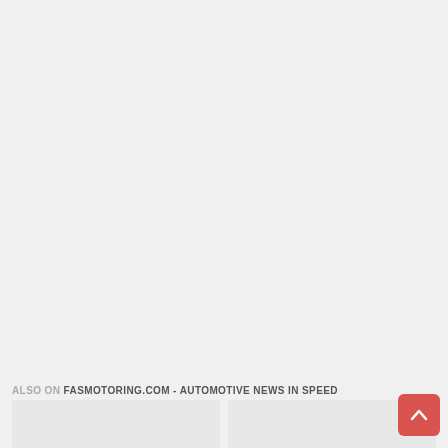ALSO ON FASMOTORING.COM - AUTOMOTIVE NEWS IN SPEED
[Figure (screenshot): Two card thumbnails partially visible at the bottom of the page, representing article previews from FASMotoring.com]
[Figure (other): Back to top button - red rounded square with white upward chevron arrow]